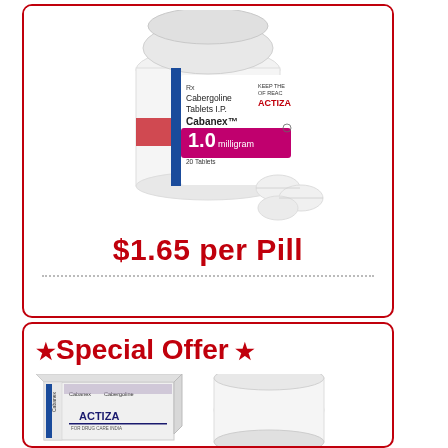[Figure (photo): White pill bottle labeled Cabergoline Tablets I.P. Cabanex 1.0 milligram 20 Tablets by ACTIZA, with three white round tablets in front]
$1.65 per Pill
★ Special Offer ★
[Figure (photo): White medicine box labeled Cabanex by ACTIZA with ACTIZA branding visible, next to a white cylindrical container]